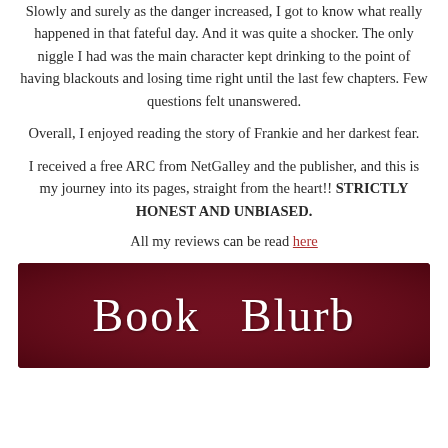Slowly and surely as the danger increased, I got to know what really happened in that fateful day. And it was quite a shocker. The only niggle I had was the main character kept drinking to the point of having blackouts and losing time right until the last few chapters. Few questions felt unanswered.
Overall, I enjoyed reading the story of Frankie and her darkest fear.
I received a free ARC from NetGalley and the publisher, and this is my journey into its pages, straight from the heart!! STRICTLY HONEST AND UNBIASED.
All my reviews can be read here
[Figure (illustration): Dark red/maroon banner image with decorative script text reading 'Book Blurb' in white cursive font on a textured dark red background]
...